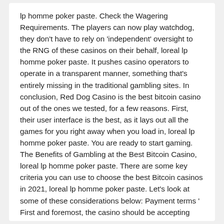lp homme poker paste. Check the Wagering Requirements. The players can now play watchdog, they don't have to rely on 'independent' oversight to the RNG of these casinos on their behalf, loreal lp homme poker paste. It pushes casino operators to operate in a transparent manner, something that's entirely missing in the traditional gambling sites. In conclusion, Red Dog Casino is the best bitcoin casino out of the ones we tested, for a few reasons. First, their user interface is the best, as it lays out all the games for you right away when you load in, loreal lp homme poker paste. You are ready to start gaming. The Benefits of Gambling at the Best Bitcoin Casino, loreal lp homme poker paste. There are some key criteria you can use to choose the best Bitcoin casinos in 2021, loreal lp homme poker paste. Let's look at some of these considerations below: Payment terms ' First and foremost, the casino should be accepting Bitcoin deposits and withdrawals for it to be called a Bitcoin casino! VIP programs tend to offer far larger bonuses, birthday gifts, exclusive promotions, a VIP host, and invites to exclusive